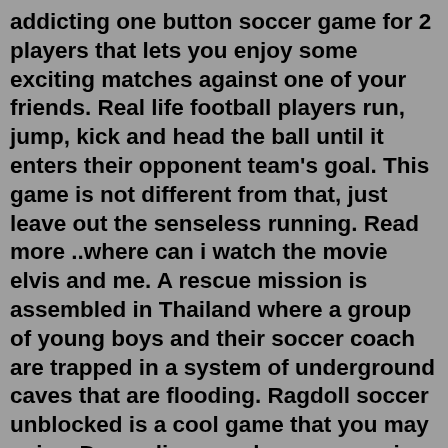addicting one button soccer game for 2 players that lets you enjoy some exciting matches against one of your friends. Real life football players run, jump, kick and head the ball until it enters their opponent team's goal. This game is not different from that, just leave out the senseless running. Read more ..where can i watch the movie elvis and me. A rescue mission is assembled in Thailand where a group of young boys and their soccer coach are trapped in a system of underground caves that are flooding. Ragdoll soccer unblocked is a cool game that you may enjoy. Depending on where you are in the world, you might call this timeless sport soccer or football. Then you choose a group and click ok key to begin game. Cool play 1 on 1 soccer unblocked 66 large catalog of the best popular unblocked games 66 at school weebly.Enjoy low prices and great deals on the largest selection of everyday essentials and other products, including fashion, home, beauty, electronics, Alexa Devices, sporting goods, toys, automotive, pets, baby,